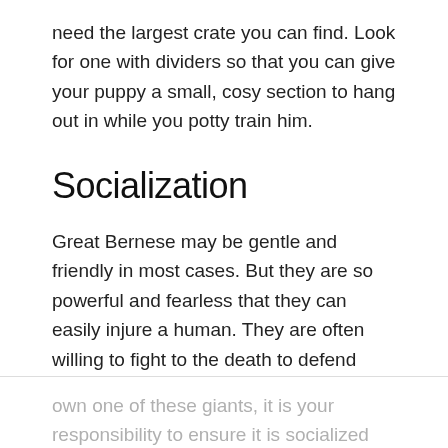need the largest crate you can find. Look for one with dividers so that you can give your puppy a small, cosy section to hang out in while you potty train him.
Socialization
Great Bernese may be gentle and friendly in most cases. But they are so powerful and fearless that they can easily injure a human. They are often willing to fight to the death to defend their family.
Even a friendly greeting, like jumping up, can knock a child or an older person over. So if you own one of these giants, it is your responsibility to ensure it is socialized and trained to prevent